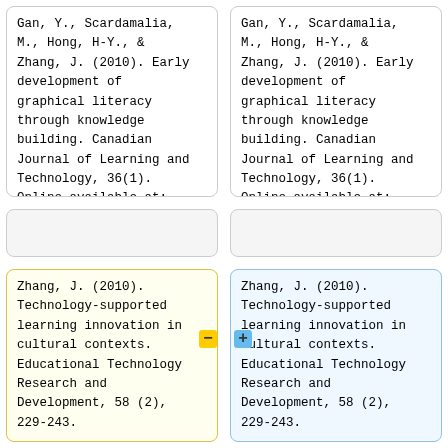Gan, Y., Scardamalia, M., Hong, H-Y., & Zhang, J. (2010). Early development of graphical literacy through knowledge building. Canadian Journal of Learning and Technology, 36(1). Online available at: http://www.cjlt.ca
Gan, Y., Scardamalia, M., Hong, H-Y., & Zhang, J. (2010). Early development of graphical literacy through knowledge building. Canadian Journal of Learning and Technology, 36(1). Online available at: http://www.cjlt.ca
Zhang, J. (2010). Technology-supported learning innovation in cultural contexts. Educational Technology Research and Development, 58 (2), 229-243.
Zhang, J. (2010). Technology-supported learning innovation in cultural contexts. Educational Technology Research and Development, 58 (2), 229-243.